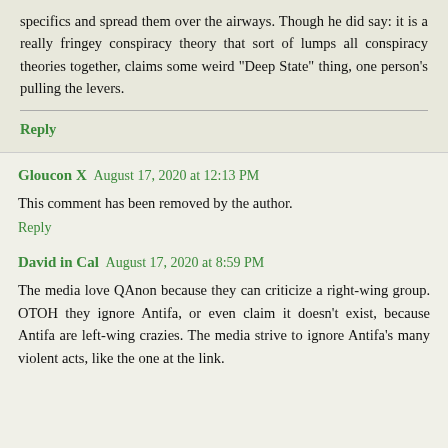specifics and spread them over the airways. Though he did say: it is a really fringey conspiracy theory that sort of lumps all conspiracy theories together, claims some weird "Deep State" thing, one person's pulling the levers.
Reply
Gloucon X  August 17, 2020 at 12:13 PM
This comment has been removed by the author.
Reply
David in Cal  August 17, 2020 at 8:59 PM
The media love QAnon because they can criticize a right-wing group. OTOH they ignore Antifa, or even claim it doesn't exist, because Antifa are left-wing crazies. The media strive to ignore Antifa's many violent acts, like the one at the link.